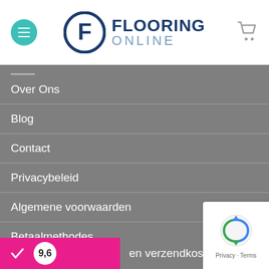[Figure (logo): Flooring Online logo with circular F emblem and shopping cart icon in header]
Over Ons
Blog
Contact
Privacybeleid
Algemene voorwaarden
Betaalmethodes
Klachten
en verzendkosten
[Figure (logo): Rating badge showing 9,6 score with pink background and checkmark icon]
[Figure (logo): Google reCAPTCHA badge with Privacy and Terms links]